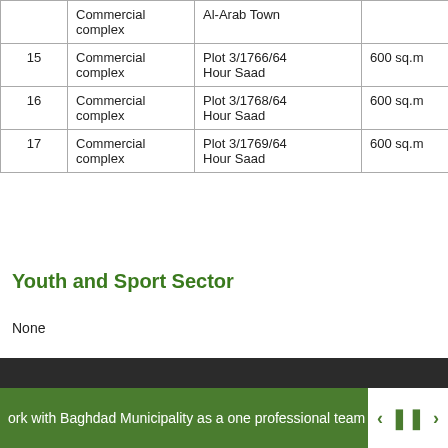| # | Type | Location | Area | Governorate |
| --- | --- | --- | --- | --- |
|  | Commercial complex | Al-Arab Town |  |  |
| 15 | Commercial complex | Plot 3/1766/64 Hour Saad | 600 sq.m | Basra |
| 16 | Commercial complex | Plot 3/1768/64 Hour Saad | 600 sq.m | Basra |
| 17 | Commercial complex | Plot 3/1769/64 Hour Saad | 600 sq.m | Basra |
Youth and Sport Sector
None
ork with Baghdad Municipality as a one professional team